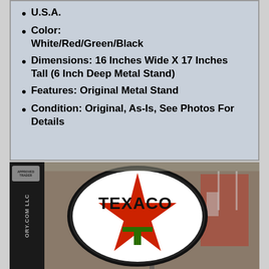U.S.A.
Color: White/Red/Green/Black
Dimensions: 16 Inches Wide X 17 Inches Tall (6 Inch Deep Metal Stand)
Features: Original Metal Stand
Condition: Original, As-Is, See Photos For Details
[Figure (photo): Photo of a vintage Texaco globe sign with white oval, red star, green T logo, and TEXACO text in black, displayed on a metal stand in what appears to a museum or showroom setting. A dark sidebar with watermark text reading 'ORY.COM LLC' is visible on the left.]